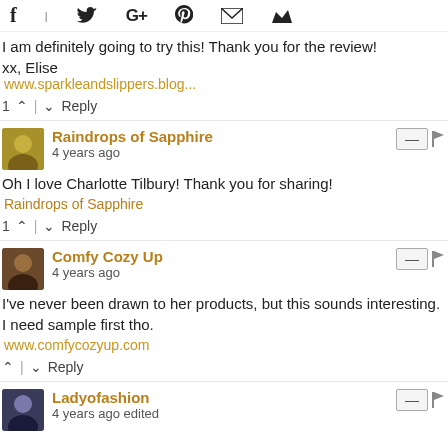Social share bar with icons: f, twitter, G+, Pinterest, email, crown
I am definitely going to try this! Thank you for the review!
xx, Elise
www.sparkleandslippers.blog...
1 ^ | v Reply
Raindrops of Sapphire
4 years ago
Oh I love Charlotte Tilbury! Thank you for sharing!
Raindrops of Sapphire
1 ^ | v Reply
Comfy Cozy Up
4 years ago
I've never been drawn to her products, but this sounds interesting. I need sample first tho.
www.comfycozyup.com
^ | v Reply
Ladyofashion
4 years ago edited